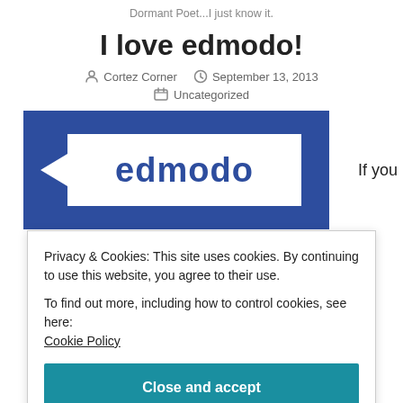Dormant Poet...I just know it.
I love edmodo!
Cortez Corner   September 13, 2013
Uncategorized
[Figure (logo): Edmodo logo — white speech bubble with left-pointing arrow on dark blue background, with the word 'edmodo' in dark blue inside the bubble. Text 'If you' appears to the right.]
Privacy & Cookies: This site uses cookies. By continuing to use this website, you agree to their use.
To find out more, including how to control cookies, see here:
Cookie Policy
Close and accept
This has become the single best way I have